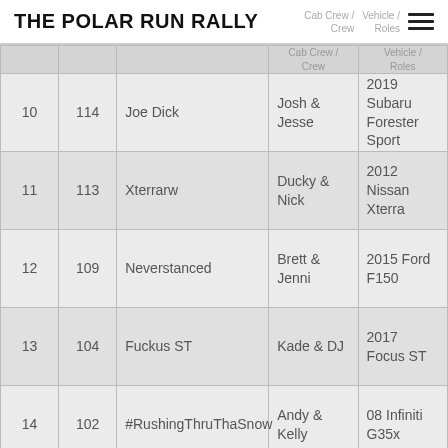THE POLAR RUN RALLY
|  |  |  | Cab Crew / Crew | Vehicle / Roles |
| --- | --- | --- | --- | --- |
| 10 | 114 | Joe Dick | Josh & Jesse | 2019 Subaru Forester Sport |
| 11 | 113 | Xterrarw | Ducky & Nick | 2012 Nissan Xterra |
| 12 | 109 | Neverstanced | Brett & Jenni | 2015 Ford F150 |
| 13 | 104 | Fuckus ST | Kade & DJ | 2017 Focus ST |
| 14 | 102 | #RushingThruThaSnow | Andy & Kelly | 08 Infiniti G35x |